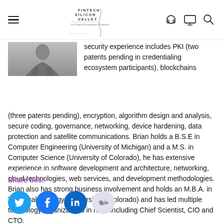Fintech Silicon Valley — site header with hamburger menu, logo, and icons (headphones, monitor, search)
[Figure (photo): Portrait photo of a person in a jacket, cropped to show torso/shoulders]
security experience includes PKI (two patents pending in credentialing ecosystem participants), blockchains (three patents pending), encryption, algorithm design and analysis, secure coding, governance, networking, device hardening, data protection and satellite communications. Brian holds a B.S.E in Computer Engineering (University of Michigan) and a M.S. in Computer Science (University of Colorado), he has extensive experience in software development and architecture, networking, cloud technologies, web services, and development methodologies. Brian also has strong business involvement and holds an M.B.A. in Technical Strategy (University of Colorado) and has led multiple technology organizations in roles including Chief Scientist, CIO and CTO.
Share this:
[Figure (other): Social share buttons: Twitter (blue circle), Facebook (blue circle), LinkedIn (blue circle), Reddit (light grey circle)]